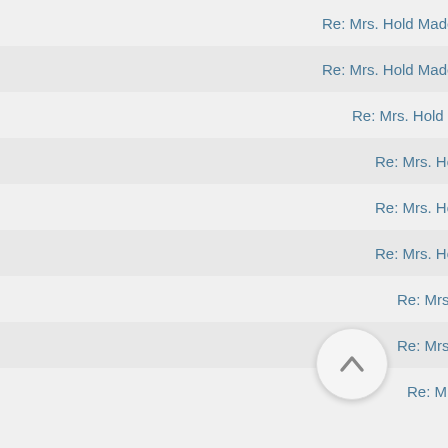Re: Mrs. Hold Made
Re: Mrs. Hold Made
Re: Mrs. Hold Ma
Re: Mrs. Hold
Re: Mrs. Hold
Re: Mrs. Hold
Re: Mrs. Ho
Re: Mrs. Ho
Re: Mrs. Ho
Re: Mrs.
Re: Mr
Re:
Re: